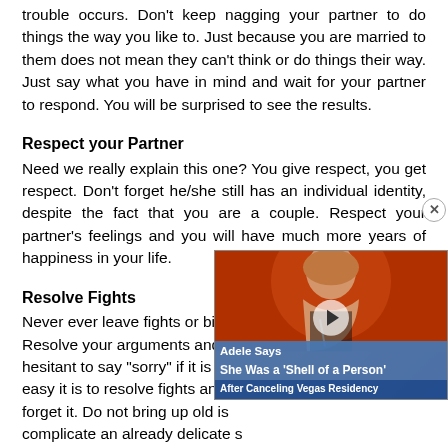trouble occurs. Don't keep nagging your partner to do things the way you like to. Just because you are married to them does not mean they can't think or do things their way. Just say what you have in mind and wait for your partner to respond. You will be surprised to see the results.
Respect your Partner
Need we really explain this one? You give respect, you get respect. Don't forget he/she still has an individual identity, despite the fact that you are a couple. Respect your partner's feelings and you will have much more years of happiness in your life.
Resolve Fights
Never ever leave fights or bitter... Resolve your arguments and fig... hesitant to say "sorry" if it is yo... easy it is to resolve fights and... forget it. Do not bring up old is... complicate an already delicate s... and forget than fret forever!!
[Figure (screenshot): Adele video thumbnail overlay with caption: 'Adele Says She Was a Shell of a Person After Canceling Vegas Residency']